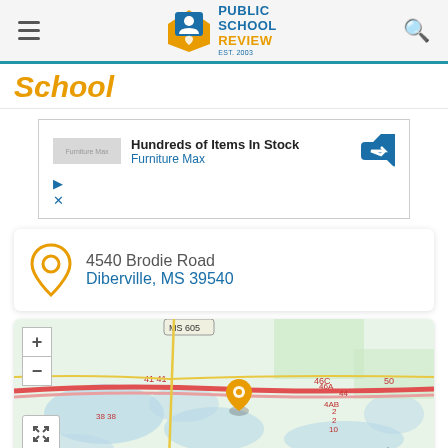[Figure (logo): Public School Review logo with blue and orange text and a graduation cap icon]
School
[Figure (screenshot): Advertisement for Furniture Max: 'Hundreds of Items In Stock - Furniture Max' with a blue navigation arrow icon]
4540 Brodie Road
Diberville, MS 39540
[Figure (map): Map showing area around Diberville, MS 39540 with roads MS 605, route 41/41, 46C, 50, 38/38, 4AB, 4AC, and Ocean Springs label. Orange location pin markers visible.]